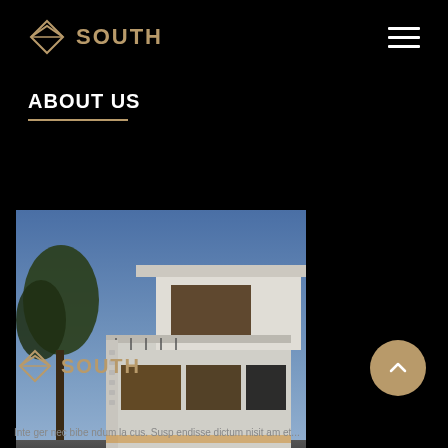SOUTH
ABOUT US
[Figure (photo): Modern two-story residential building with white exterior walls, large windows with dark frames, a balcony, and warm interior lighting, photographed at dusk against a blue sky with trees in the background.]
SOUTH
Inte ger nec bibe ndum la cus. Susp endisse dictum nisit am et...